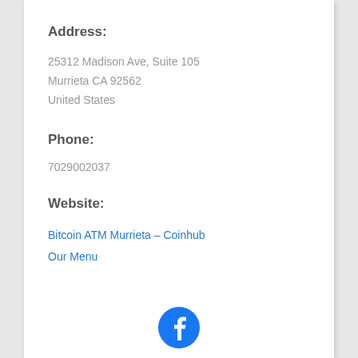Address:
25312 Madison Ave, Suite 105
Murrieta CA 92562
United States
Phone:
7029002037
Website:
Bitcoin ATM Murrieta – Coinhub
Our Menu
[Figure (logo): Facebook logo icon — blue circle with white 'f' letter]